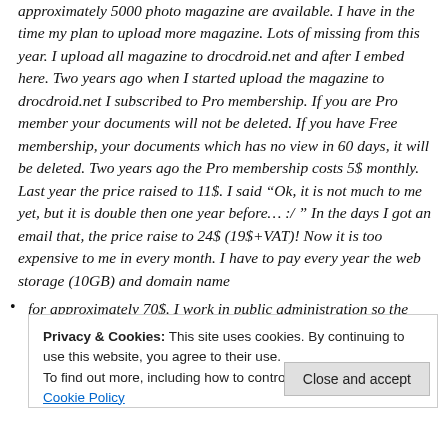approximately 5000 photo magazine are available. I have in the time my plan to upload more magazine. Lots of missing from this year. I upload all magazine to drocdroid.net and after I embed here. Two years ago when I started upload the magazine to drocdroid.net I subscribed to Pro membership. If you are Pro member your documents will not be deleted. If you have Free membership, your documents which has no view in 60 days, it will be deleted. Two years ago the Pro membership costs 5$ monthly. Last year the price raised to 11$. I said “Ok, it is not much to me yet, but it is double then one year before... :/ ” In the days I got an email that, the price raise to 24$ (19$+VAT)! Now it is too expensive to me in every month. I have to pay every year the web storage (10GB) and domain name for approximately 70$. I work in public administration so the
Privacy & Cookies: This site uses cookies. By continuing to use this website, you agree to their use.
To find out more, including how to control cookies, see here: Cookie Policy
Close and accept